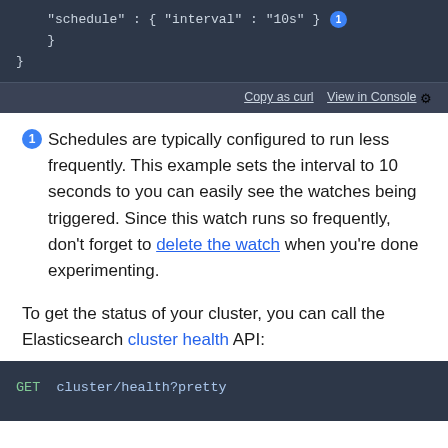[Figure (screenshot): Dark-themed code block showing JSON snippet: '"schedule" : { "interval" : "10s" }' with callout number 1, closing braces, and a toolbar with 'Copy as curl' and 'View in Console' links.]
Schedules are typically configured to run less frequently. This example sets the interval to 10 seconds to you can easily see the watches being triggered. Since this watch runs so frequently, don’t forget to delete the watch when you’re done experimenting.
To get the status of your cluster, you can call the Elasticsearch cluster health API:
[Figure (screenshot): Dark-themed code block showing: GET cluster/health?pretty]